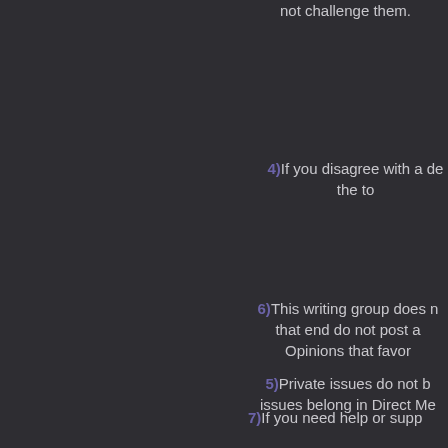not challenge them.
4)If you disagree with a de the to
5)Private issues do not b issues belong in Direct Me
6)This writing group does n that end do not post a Opinions that favor
7)If you need help or supp